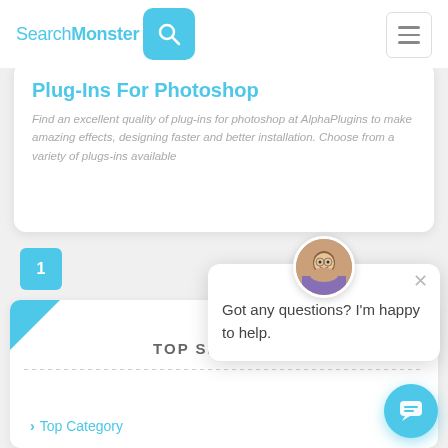SearchMonster
Plug-Ins For Photoshop
Find an excellent quality of plug-ins for photoshop at AlphaPlugins to make amazing effects, designing faster and better installation. Choose from a variety of plugs-ins available
1
TOP SEARCHES
Got any questions? I'm happy to help.
> Top Category